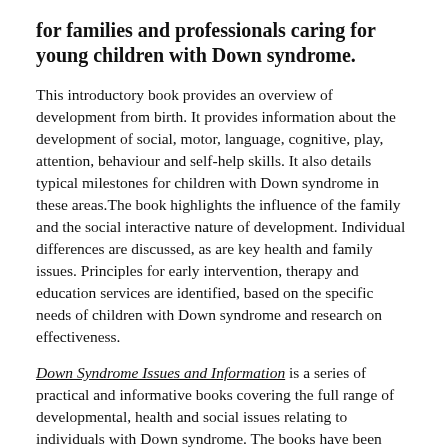for families and professionals caring for young children with Down syndrome.
This introductory book provides an overview of development from birth. It provides information about the development of social, motor, language, cognitive, play, attention, behaviour and self-help skills. It also details typical milestones for children with Down syndrome in these areas.The book highlights the influence of the family and the social interactive nature of development. Individual differences are discussed, as are key health and family issues. Principles for early intervention, therapy and education services are identified, based on the specific needs of children with Down syndrome and research on effectiveness.
Down Syndrome Issues and Information is a series of practical and informative books covering the full range of developmental, health and social issues relating to individuals with Down syndrome. The books have been written by some of the world's leading researchers.